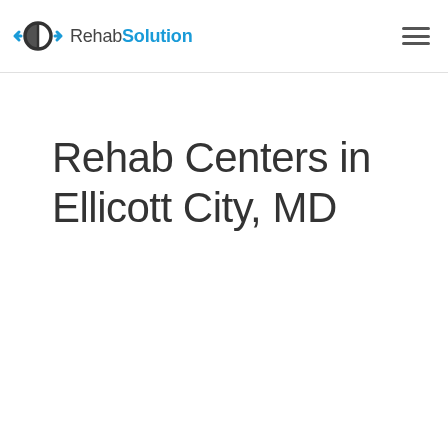RehabSolution
Rehab Centers in Ellicott City, MD